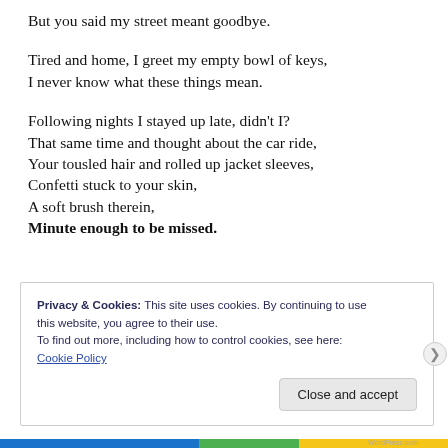But you said my street meant goodbye.
Tired and home, I greet my empty bowl of keys,
I never know what these things mean.
Following nights I stayed up late, didn't I?
That same time and thought about the car ride,
Your tousled hair and rolled up jacket sleeves,
Confetti stuck to your skin,
A soft brush therein,
Minute enough to be missed.
Privacy & Cookies: This site uses cookies. By continuing to use this website, you agree to their use.
To find out more, including how to control cookies, see here:
Cookie Policy
Close and accept